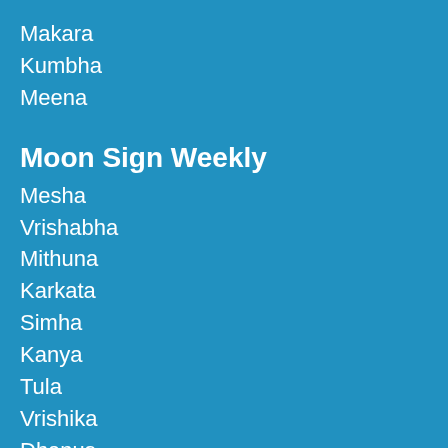Makara
Kumbha
Meena
Moon Sign Weekly
Mesha
Vrishabha
Mithuna
Karkata
Simha
Kanya
Tula
Vrishika
Dhanus
Makara
Kumbha
Meena